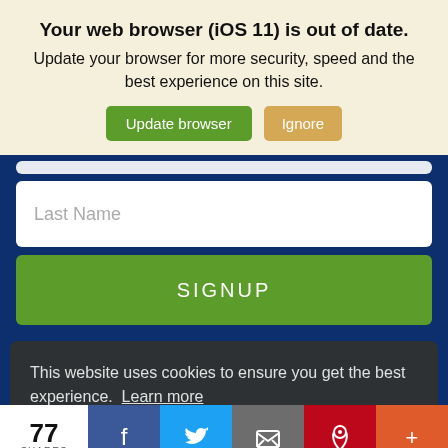Your web browser (iOS 11) is out of date.
Update your browser for more security, speed and the best experience on this site.
Update browser | Ignore
Last Name
SIGNUP
This website uses cookies to ensure you get the best experience. Learn more
I understand
77 SHARES